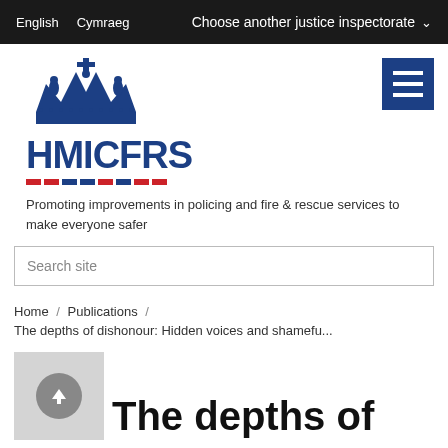English  Cymraeg    Choose another justice inspectorate
[Figure (logo): HMICFRS logo with royal crown above, bold blue text HMICFRS, and decorative red and blue dashes below]
Promoting improvements in policing and fire & rescue services to make everyone safer
Search site
Home / Publications /
The depths of dishonour: Hidden voices and shamefu...
The depths of